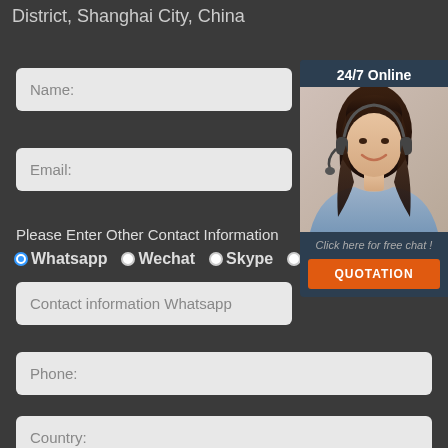District, Shanghai City, China
Name:
Email:
Please Enter Other Contact Information
Whatsapp  Wechat  Skype  Viber
Contact information Whatsapp
Phone:
Country:
[Figure (illustration): 24/7 online customer support widget with photo of smiling woman wearing headset, 'Click here for free chat!' text, and orange QUOTATION button]